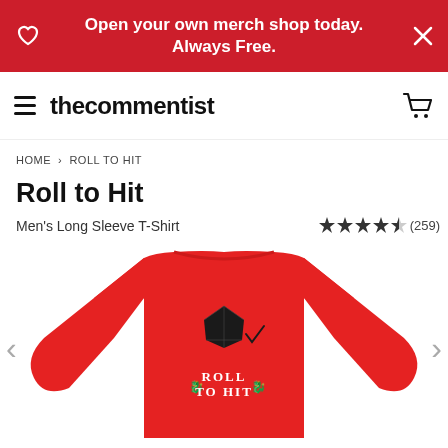Open your own merch shop today. Always Free.
thecommentist
HOME > ROLL TO HIT
Roll to Hit
Men's Long Sleeve T-Shirt
★★★★½ (259)
[Figure (photo): Red men's long sleeve T-shirt with 'Roll to Hit' D&D dice design on the chest, featuring a black d20 die, a checkmark, and dragon motifs with white fantasy text.]